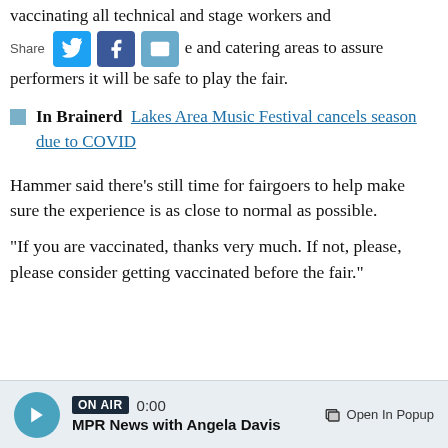vaccinating all technical and stage workers and [share bar] and catering areas to assure performers it will be safe to play the fair.
In Brainerd  Lakes Area Music Festival cancels season due to COVID
Hammer said there's still time for fairgoers to help make sure the experience is as close to normal as possible.
"If you are vaccinated, thanks very much. If not, please, please consider getting vaccinated before the fair."
ON AIR 0:00 MPR News with Angela Davis  Open In Popup